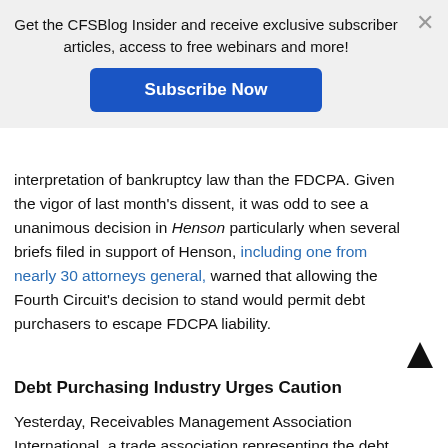[Figure (infographic): Subscribe banner overlay with text 'Get the CFSBlog Insider and receive exclusive subscriber articles, access to free webinars and more!' and a blue 'Subscribe Now' button, with a close X button]
interpretation of bankruptcy law than the FDCPA. Given the vigor of last month's dissent, it was odd to see a unanimous decision in Henson particularly when several briefs filed in support of Henson, including one from nearly 30 attorneys general, warned that allowing the Fourth Circuit's decision to stand would permit debt purchasers to escape FDCPA liability.
Debt Purchasing Industry Urges Caution
Yesterday, Receivables Management Association International, a trade association representing the debt purchasing industry, issued a press release urging its members to proceed with caution. While welcoming the decision, RMA noted that the Court left open whethe